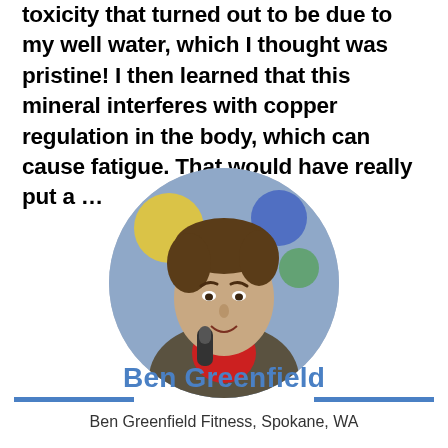toxicity that turned out to be due to my well water, which I thought was pristine! I then learned that this mineral interferes with copper regulation in the body, which can cause fatigue. That would have really put a …
[Figure (photo): Circular portrait photo of Ben Greenfield, a man holding a microphone, wearing a red shirt and grey blazer, speaking at an event with colorful balloons in the background.]
Ben Greenfield
Ben Greenfield Fitness, Spokane, WA